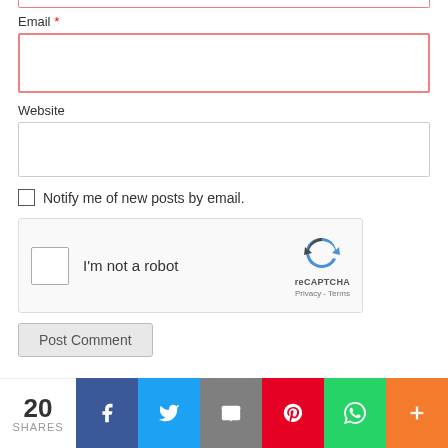Email *
[Figure (screenshot): Empty email input field with red border (required field)]
Website
[Figure (screenshot): Empty website input field with gray border]
Notify me of new posts by email.
[Figure (screenshot): reCAPTCHA widget with checkbox 'I'm not a robot', reCAPTCHA logo, Privacy and Terms links]
[Figure (screenshot): Post Comment button]
[Figure (screenshot): Search input field with Search button]
[Figure (infographic): Social share bar showing 20 SHARES count, Facebook, Twitter, Email, Pinterest, WhatsApp, and More buttons]